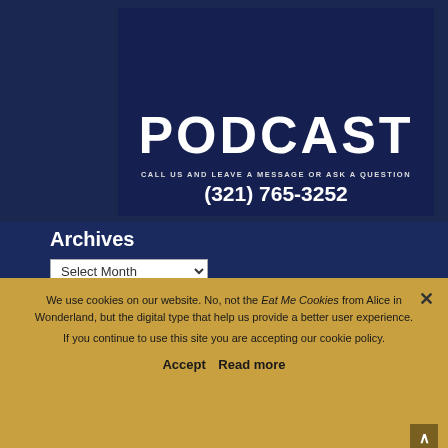[Figure (logo): Podcast banner with text PODCAST, CALL US AND LEAVE A MESSAGE OR ASK A QUESTION, (321) 765-3252 on dark navy background with gold/white design elements]
Archives
Select Month (dropdown)
Select Category (dropdown)
2013 2014 2015 2016 2017 2018 2019 2020 2021
Alaska Awards CAN
Canadian Resident Rate
Castaway Cay
Dizember Disney Dream
Disney Fantasy
Disney Magic Disney Wish
Disney Wonder
Falmouth
[Figure (screenshot): Cookie consent overlay banner in gold/yellow background. Text reads: We use cookies on our website. No, not the Eat Me Cookies from Alice in Wonderland, but the digital type that help us provide a better user experience. If you continue to use this site you are accepting our cookie policy. Buttons: Accept | Read more. Close X button top right. Scroll-to-top arrow bottom right.]